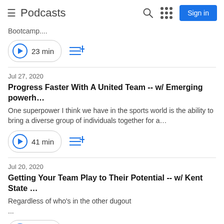≡ Podcasts  [search icon] [grid icon] Sign in
Bootcamp....
▶ 23 min  ≡+
Jul 27, 2020
Progress Faster With A United Team -- w/ Emerging powerh…
One superpower I think we have in the sports world is the ability to bring a diverse group of individuals together for a…
▶ 41 min  ≡+
Jul 20, 2020
Getting Your Team Play to Their Potential -- w/ Kent State …
Regardless of who's in the other dugout

...
▶ 34 min  ≡+